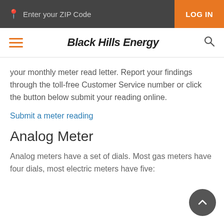Enter your ZIP Code | LOG IN
[Figure (logo): Black Hills Energy website header with hamburger menu, brand name 'Black Hills Energy', and search icon]
your monthly meter read letter. Report your findings through the toll-free Customer Service number or click the button below submit your reading online.
Submit a meter reading
Analog Meter
Analog meters have a set of dials. Most gas meters have four dials, most electric meters have five: